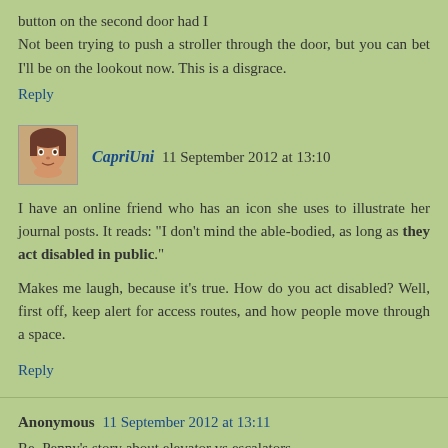button on the second door had I
Not been trying to push a stroller through the door, but you can bet I'll be on the lookout now. This is a disgrace.
Reply
[Figure (photo): Small avatar image of a person with brown hair]
CapriUni 11 September 2012 at 13:10
I have an online friend who has an icon she uses to illustrate her journal posts. It reads: "I don't mind the able-bodied, as long as they act disabled in public."
Makes me laugh, because it's true. How do you act disabled? Well, first off, keep alert for access routes, and how people move through a space.
Reply
Anonymous 11 September 2012 at 13:11
Re, Penny's story about elevator vs escalators